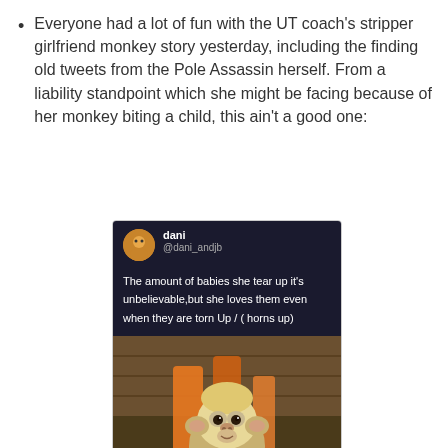Everyone had a lot of fun with the UT coach's stripper girlfriend monkey story yesterday, including the finding old tweets from the Pole Assassin herself. From a liability standpoint which she might be facing because of her monkey biting a child, this ain't a good one:
[Figure (screenshot): Screenshot of a tweet by user 'dani' (@dani_andjb) on a dark background reading: 'The amount of babies she tear up it's unbelievable,but she loves them even when they are torn Up / ( horns up)' followed by a photo of a small white-faced capuchin monkey holding orange fabric, nestled in a white blanket.]